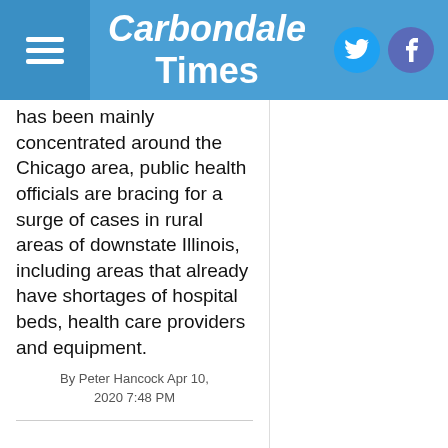Carbondale Times
has been mainly concentrated around the Chicago area, public health officials are bracing for a surge of cases in rural areas of downstate Illinois, including areas that already have shortages of hospital beds, health care providers and equipment.
By Peter Hancock Apr 10, 2020 7:48 PM
[Figure (photo): Illustration of coronavirus particle (COVID-19) shown as a spherical structure with red spike proteins]